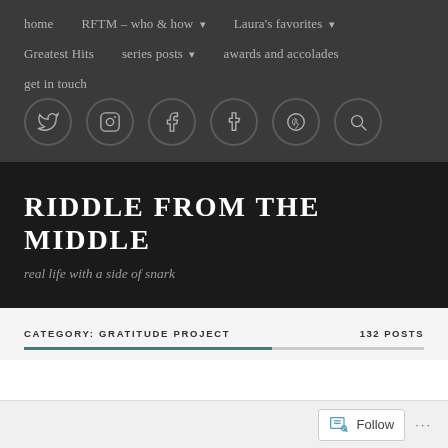home | RFTM – who & how ▾ | Laura's favorites ▾ | Greatest Hits | series posts ▾ | awards and accolades | get in touch
[Figure (other): Social media icon buttons: Twitter, Instagram, Facebook, Tumblr, Pinterest, Search]
RIDDLE FROM THE MIDDLE
real life with a side of snark
CATEGORY: GRATITUDE PROJECT
132 POSTS